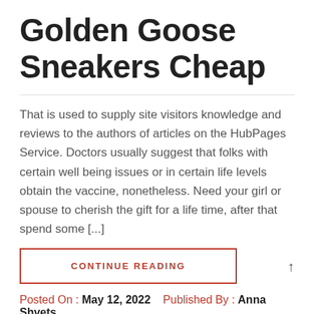Golden Goose Sneakers Cheap
That is used to supply site visitors knowledge and reviews to the authors of articles on the HubPages Service. Doctors usually suggest that folks with certain well being issues or in certain life levels obtain the vaccine, nonetheless. Need your girl or spouse to cherish the gift for a life time, after that spend some [...]
CONTINUE READING
Posted On : May 12, 2022   Published By : Anna Shvets